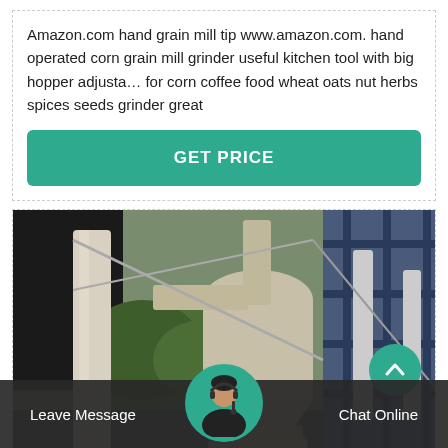Amazon.com hand grain mill tip www.amazon.com. hand operated corn grain mill grinder useful kitchen tool with big hopper adjusta… for corn coffee food wheat oats nut herbs spices seeds grinder great
GET PRICE
[Figure (photo): Photo of industrial grain mill machinery with large cylindrical equipment, pipes, and blue steel scaffolding structure in a factory/outdoor setting]
Leave Message
Chat Online